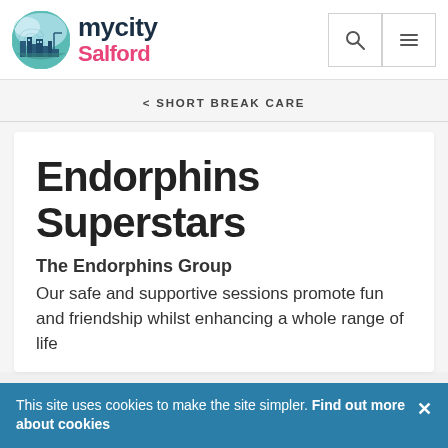[Figure (logo): mycity Salford logo with circular city skyline graphic in teal/blue, with 'mycity' in dark navy bold text and 'Salford' in pink/magenta bold text]
< SHORT BREAK CARE
Endorphins Superstars
The Endorphins Group
Our safe and supportive sessions promote fun and friendship whilst enhancing a whole range of life
This site uses cookies to make the site simpler. Find out more about cookies ×